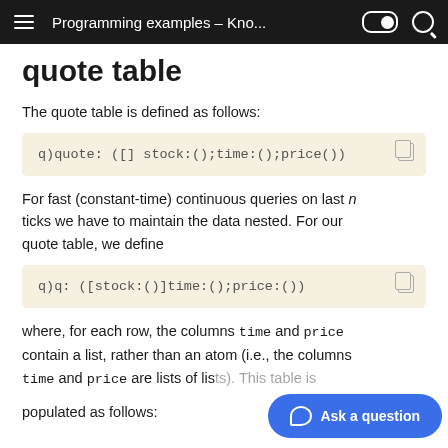Programming examples – Kno...
quote table
The quote table is defined as follows:
q)quote: ([] stock:();time:();price())
For fast (constant-time) continuous queries on last n ticks we have to maintain the data nested. For our quote table, we define
q)q: ([stock:()]time:();price:())
where, for each row, the columns time and price contain a list, rather than an atom (i.e., the columns time and price are lists of lists). This table is populated as follows: